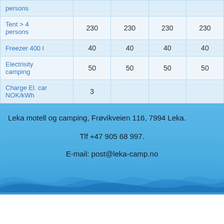| persons |  |  |  |  |
| Tent > 4 persons | 230 | 230 | 230 | 230 |
| Freezer 400 l | 40 | 40 | 40 | 40 |
| Electrisity camping | 50 | 50 | 50 | 50 |
| Charge El. car NOK/kWh | 3 |  |  |  |
Leka motell og camping, Frøvikveien 116, 7994 Leka.
Tlf +47 905 68 997.
E-mail: post@leka-camp.no